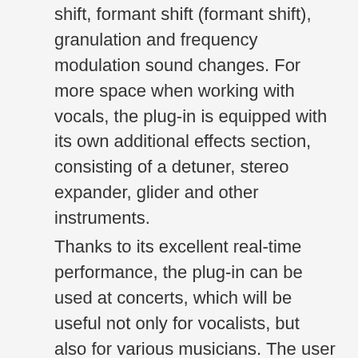shift, formant shift (formant shift), granulation and frequency modulation sound changes. For more space when working with vocals, the plug-in is equipped with its own additional effects section, consisting of a detuner, stereo expander, glider and other instruments.
Thanks to its excellent real-time performance, the plug-in can be used at concerts, which will be useful not only for vocalists, but also for various musicians. The user can change to perform interesting parts using a bunch of Manipulator and MIDI controller. The plugin supports playback of up to 4 sounds simultaneously and can change harmonies on the fly.
Installation
1. Install the Setup Manipulator v1.4.9.exe program
2. Run the Polyverse_RSA_KeyGen.exe keygen, in the